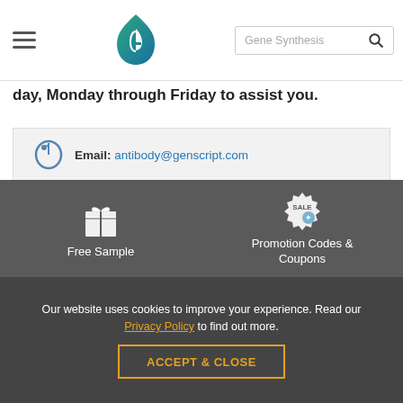Gene Synthesis [search bar]
day, Monday through Friday to assist you.
| Icon | Contact |
| --- | --- |
| [email icon] | Email: antibody@genscript.com |
| [phone icon] | Phone: 1-877-436-7274 (Toll-Free); |
| [fax icon] | Fax: 1-732-210-0262 |
[Figure (infographic): Free Sample icon (gift box) and Promotion Codes & Coupons icon (sale badge) on dark grey background]
Our website uses cookies to improve your experience. Read our Privacy Policy to find out more.
ACCEPT & CLOSE